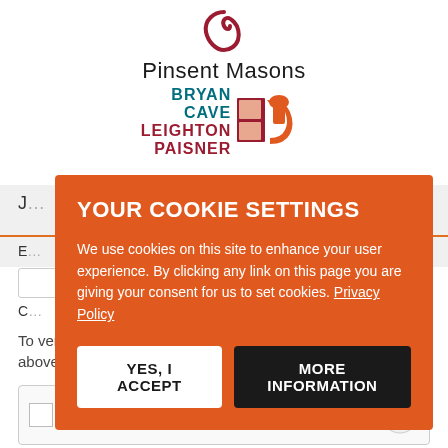[Figure (logo): Pinsent Masons logo — a dark red/maroon stylized circular shape above the text 'Pinsent Masons']
[Figure (logo): Bryan Cave Leighton Paisner (BCLP) logo — stacked text in teal and dark red with a stylized BCLP monogram icon]
J
E
C
To verify your identity, please type what you see in the box above.
[Figure (screenshot): reCAPTCHA widget: checkbox and 'I'm not a robot' label with reCAPTCHA logo]
[Figure (screenshot): Cookie consent overlay with orange background. Title: YOUR COOKIE SETTINGS. Body: We use cookies on this site to enhance your user experience. By clicking any link on this page you are giving your consent for us to set cookies. Privacy Policy. Two buttons: YES, I ACCEPT and MORE INFORMATION.]